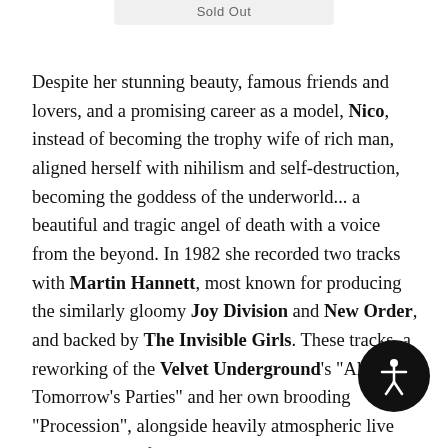Sold Out
Despite her stunning beauty, famous friends and lovers, and a promising career as a model, Nico, instead of becoming the trophy wife of rich man, aligned herself with nihilism and self-destruction, becoming the goddess of the underworld... a beautiful and tragic angel of death with a voice from the beyond. In 1982 she recorded two tracks with Martin Hannett, most known for producing the similarly gloomy Joy Division and New Order, and backed by The Invisible Girls. These tracks, a reworking of the Velvet Underground's "All Tomorrow's Parties" and her own brooding "Procession", alongside heavily atmospheric live tracks selected from her 1983 tour in London, Copenhagen, Utrecht, and Amsterdam are presented here. Femme Fatale also includes versions of songs